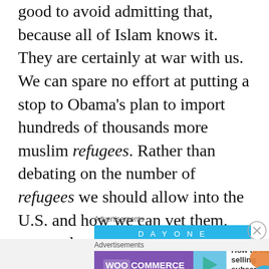good to avoid admitting that, because all of Islam knows it.  They are certainly at war with us.  We can spare no effort at putting a stop to Obama's plan to import hundreds of thousands more muslim refugees.  Rather than debating on the number of refugees we should allow into the U.S. and how we can vet them, we need to turn the narrative to a debate on how many we can deport.  We need to deport the muslims who are in our country now.
[Figure (screenshot): Two advertisement banners: first shows a DayOne blue bar ad with a close button, second shows a WooCommerce banner with text 'How to start selling subscriptions online']